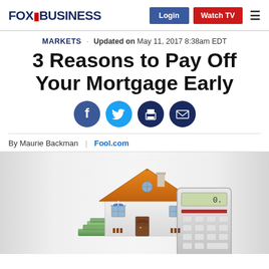FOX BUSINESS | Login | Watch TV
MARKETS · Updated on May 11, 2017 8:38am EDT
3 Reasons to Pay Off Your Mortgage Early
[Figure (illustration): Social sharing icons: Facebook, Twitter, Print, Email]
By Maurie Backman | Fool.com
[Figure (photo): A model house with an orange roof sitting on stacks of dollar bills next to a calculator, on a white background]